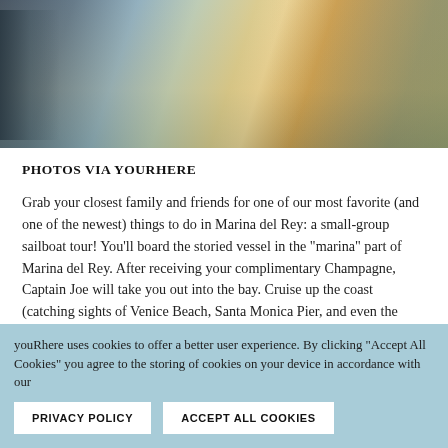[Figure (photo): Partial view of a person swimming or moving through water beside a boat, with sunlight reflecting off the water surface.]
PHOTOS VIA YOURHERE
Grab your closest family and friends for one of our most favorite (and one of the newest) things to do in Marina del Rey: a small-group sailboat tour! You'll board the storied vessel in the "marina" part of Marina del Rey. After receiving your complimentary Champagne, Captain Joe will take you out into the bay. Cruise up the coast (catching sights of Venice Beach, Santa Monica Pier, and even the luxurious Malibu) while chatting with your loved ones and listening to an expertly curated playlist, specially made for your trip. Keep your eyes peeled for migrating whales, surfing celebrities, or for our sunset cruise offerings, even some impromptu fireworks. Hey, you never
youRhere uses cookies to offer a better user experience. By clicking "Accept All Cookies" you agree to the storing of cookies on your device in accordance with our
PRIVACY POLICY
ACCEPT ALL COOKIES